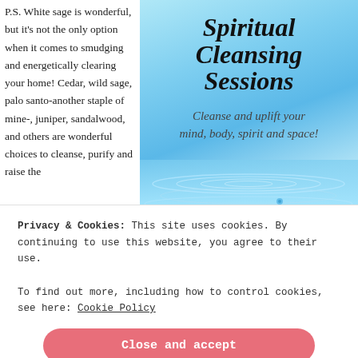P.S. White sage is wonderful, but it's not the only option when it comes to smudging and energetically clearing your home! Cedar, wild sage, palo santo-another staple of mine-, juniper, sandalwood, and others are wonderful choices to cleanse, purify and raise the
[Figure (illustration): Advertisement for Spiritual Cleansing Sessions on a blue water ripple background. Large bold italic text reads 'Spiritual Cleansing Sessions'. Subtitle reads 'Cleanse and uplift your mind, body, spirit and space!']
Privacy & Cookies: This site uses cookies. By continuing to use this website, you agree to their use.
To find out more, including how to control cookies, see here: Cookie Policy
Close and accept